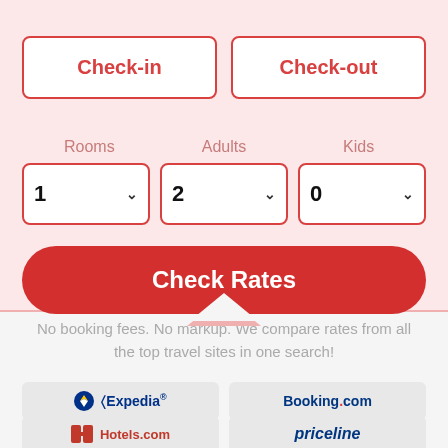[Figure (screenshot): Hotel booking search widget with check-in, check-out date buttons, rooms/adults/kids dropdowns, Check Rates button, and partner travel site logos (Expedia, Booking.com, Hotels.com, Priceline)]
Check-in
Check-out
Rooms
Adults
Kids
1
2
0
Check Rates
No booking fees. No markup. We compare rates from all the top travel sites in one search!
Expedia
Booking.com
Hotels.com
priceline